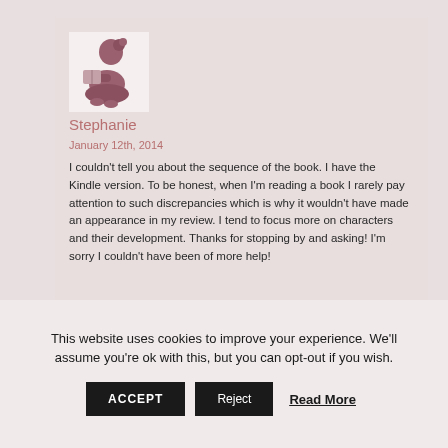[Figure (illustration): Silhouette of a girl reading a book, pink/mauve tones on light background, used as avatar]
Stephanie
January 12th, 2014
I couldn't tell you about the sequence of the book. I have the Kindle version. To be honest, when I'm reading a book I rarely pay attention to such discrepancies which is why it wouldn't have made an appearance in my review. I tend to focus more on characters and their development. Thanks for stopping by and asking! I'm sorry I couldn't have been of more help!
This website uses cookies to improve your experience. We'll assume you're ok with this, but you can opt-out if you wish.
ACCEPT
Reject
Read More